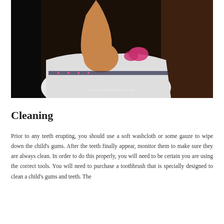[Figure (photo): A young child in a white shirt with a pink bow/flower detail, raising their arm, photographed against a dark background. Watermark reads www.momsupsordowns.com]
Cleaning
Prior to any teeth erupting, you should use a soft washcloth or some gauze to wipe down the child's gums. After the teeth finally appear, monitor them to make sure they are always clean. In order to do this properly, you will need to be certain you are using the correct tools. You will need to purchase a toothbrush that is specially designed to clean a child's gums and teeth. The